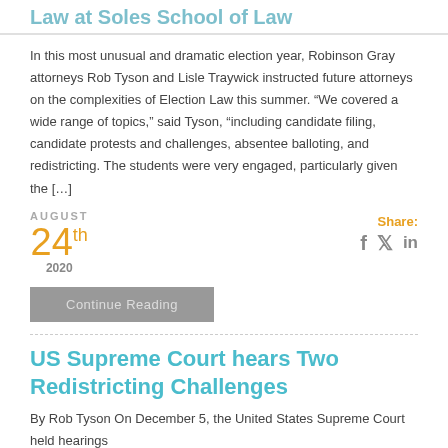Law at Soles School of Law
In this most unusual and dramatic election year, Robinson Gray attorneys Rob Tyson and Lisle Traywick instructed future attorneys on the complexities of Election Law this summer. “We covered a wide range of topics,” said Tyson, “including candidate filing, candidate protests and challenges, absentee balloting, and redistricting. The students were very engaged, particularly given the […]
AUGUST
24th
2020
Share: f 𝒓 in
Continue Reading
US Supreme Court hears Two Redistricting Challenges
By Rob Tyson On December 5, the United States Supreme Court held hearings